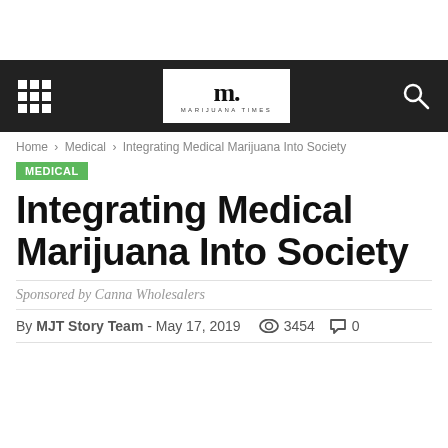Marijuana Times - Navigation bar with logo
Home › Medical › Integrating Medical Marijuana Into Society
MEDICAL
Integrating Medical Marijuana Into Society
Sponsored by Canna Wholesalers
By MJT Story Team - May 17, 2019  3454  0